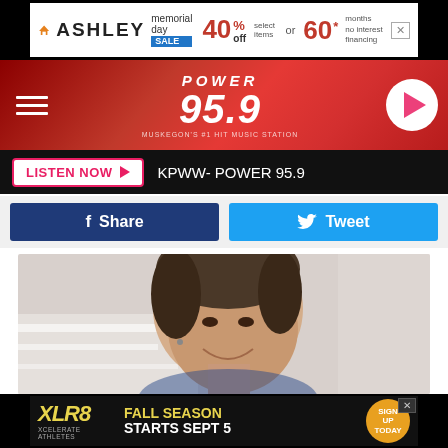[Figure (screenshot): Ashley Furniture Memorial Day Sale banner advertisement: 40% off select items or 60 months no interest financing]
[Figure (logo): Power 95.9 radio station header with hamburger menu and play button]
LISTEN NOW  KPWW- POWER 95.9
[Figure (other): Facebook Share button and Twitter Tweet button]
[Figure (photo): Close-up photo of a smiling young woman with dark hair pulled back]
[Figure (screenshot): XLR8 Xcelerate Athletics advertisement: Fall Season Starts Sept 5, Sign Up Today]